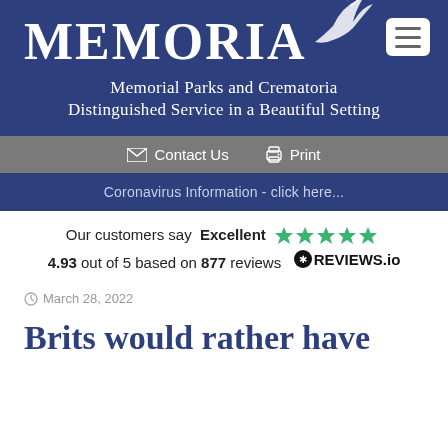[Figure (logo): Memoria logo with white text MEMORIA on dark blue background, with bird/dove illustration in top right corner, and a hamburger menu button in white on the top right]
Memorial Parks and Crematoria
Distinguished Service in a Beautiful Setting
Contact Us   Print
Coronavirus Information - click here...
Our customers say Excellent ★★★★★ 4.93 out of 5 based on 877 reviews ⊙REVIEWS.io
March 28, 2022
Brits would rather have